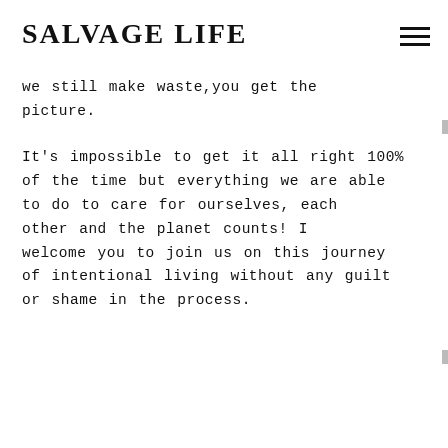SALVAGE LIFE
we still make waste, you get the picture.
It's impossible to get it all right 100% of the time but everything we are able to do to care for ourselves, each other and the planet counts! I welcome you to join us on this journey of intentional living without any guilt or shame in the process.